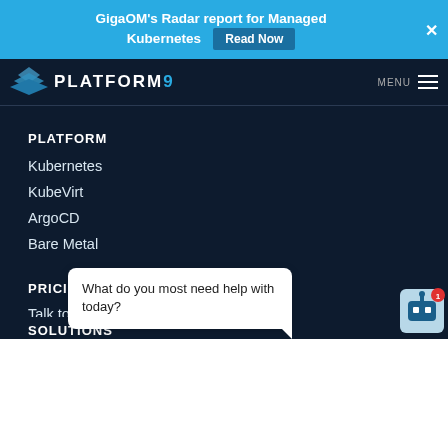GigaOM's Radar report for Managed Kubernetes  Read Now  ✕
[Figure (logo): Platform9 logo with stacked diamond icon and text PLATFORM9]
PLATFORM
Kubernetes
KubeVirt
ArgoCD
Bare Metal
PRICING
Talk to Sales
SOLUTIONS
What do you most need help with today?